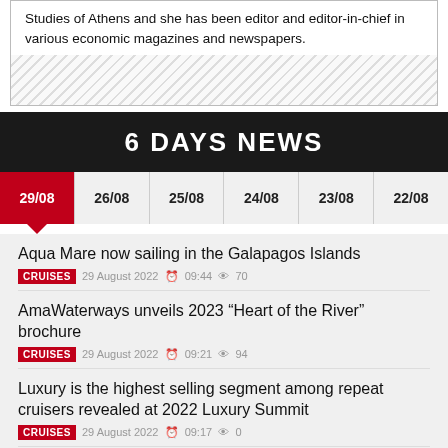Studies of Athens and she has been editor and editor-in-chief in various economic magazines and newspapers.
6 DAYS NEWS
29/08
26/08
25/08
24/08
23/08
22/08
Aqua Mare now sailing in the Galapagos Islands
CRUISES 29 August 2022 09:44 70
AmaWaterways unveils 2023 “Heart of the River” brochure
CRUISES 29 August 2022 09:21 94
Luxury is the highest selling segment among repeat cruisers revealed at 2022 Luxury Summit
CRUISES 29 August 2022 09:17 0
Boeing becomes founding member of UK Innovation Hub to